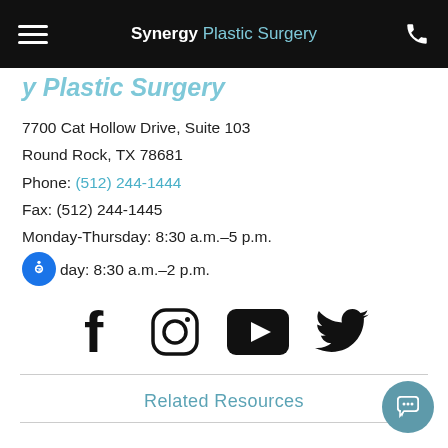Synergy Plastic Surgery
7700 Cat Hollow Drive, Suite 103
Round Rock, TX 78681
Phone: (512) 244-1444
Fax: (512) 244-1445
Monday-Thursday: 8:30 a.m.–5 p.m.
Friday: 8:30 a.m.–2 p.m.
[Figure (infographic): Social media icons: Facebook, Instagram, YouTube, Twitter]
Related Resources